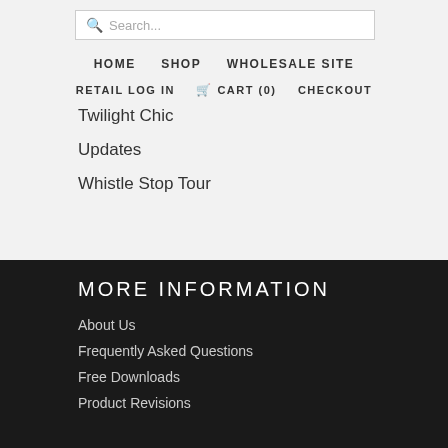Search... | HOME | SHOP | WHOLESALE SITE | RETAIL LOG IN | CART (0) | CHECKOUT
Twilight Chic
Updates
Whistle Stop Tour
MORE INFORMATION
About Us
Frequently Asked Questions
Free Downloads
Product Revisions